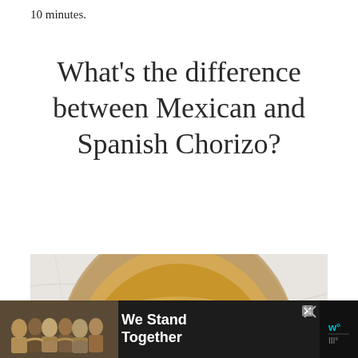10 minutes.
What’s the difference between Mexican and Spanish Chorizo?
[Figure (photo): Top-down view of a round ceramic bowl with a golden-brown liquid or sauce, photographed on a light marble surface]
[Figure (photo): Advertisement banner: group of people sitting together with backs to camera, text reads 'We Stand Together']